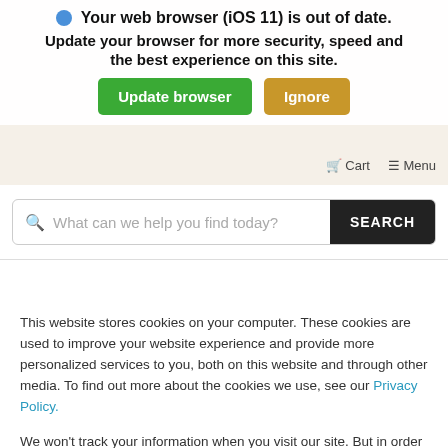[Figure (screenshot): Website navigation background with logo area and cart/menu icons on a beige/tan background]
Your web browser (iOS 11) is out of date. Update your browser for more security, speed and the best experience on this site.
Update browser | Ignore
[Figure (screenshot): Search bar with placeholder text 'What can we help you find today?' and a dark SEARCH button]
This website stores cookies on your computer. These cookies are used to improve your website experience and provide more personalized services to you, both on this website and through other media. To find out more about the cookies we use, see our Privacy Policy.
We won't track your information when you visit our site. But in order to comply with your preferences, we'll have to use just one tiny cookie so that you're not asked to make this choice again.
Accept | Decline